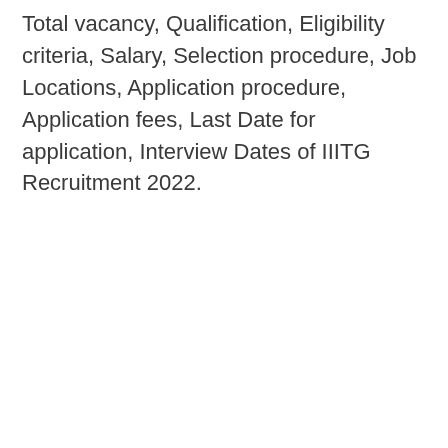Total vacancy, Qualification, Eligibility criteria, Salary, Selection procedure, Job Locations, Application procedure, Application fees, Last Date for application, Interview Dates of IIITG Recruitment 2022.